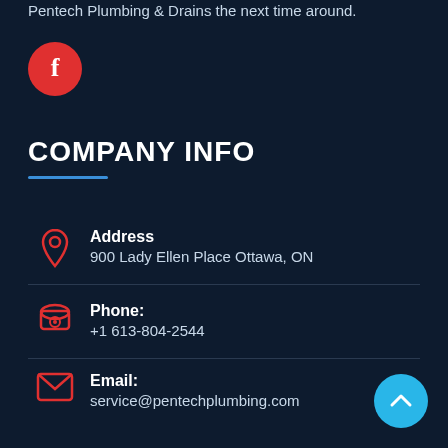Pentech Plumbing & Drains the next time around.
[Figure (logo): Red circular Facebook icon with white 'f' letter]
COMPANY INFO
Address
900 Lady Ellen Place Ottawa, ON
Phone:
+1 613-804-2544
Email:
service@pentechplumbing.com